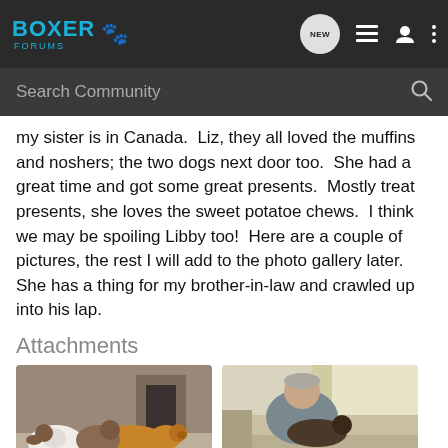Boxer Forums
my sister is in Canada. Liz, they all loved the muffins and noshers; the two dogs next door too. She had a great time and got some great presents. Mostly treat presents, she loves the sweet potatoe chews. I think we may be spoiling Libby too! Here are a couple of pictures, the rest I will add to the photo gallery later. She has a thing for my brother-in-law and crawled up into his lap.
Attachments
[Figure (photo): Two dogs and a golden retriever lying on the floor]
[Figure (photo): Man sitting in a chair with a dog in his lap]